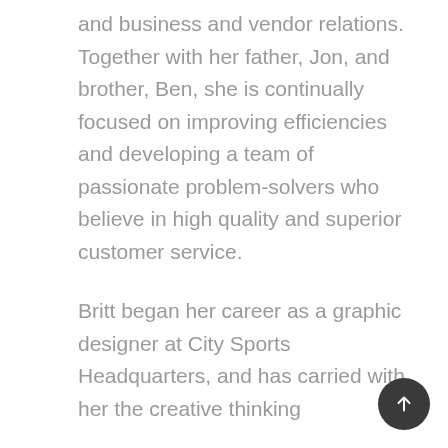and business and vendor relations. Together with her father, Jon, and brother, Ben, she is continually focused on improving efficiencies and developing a team of passionate problem-solvers who believe in high quality and superior customer service.
Britt began her career as a graphic designer at City Sports Headquarters, and has carried with her the creative thinking